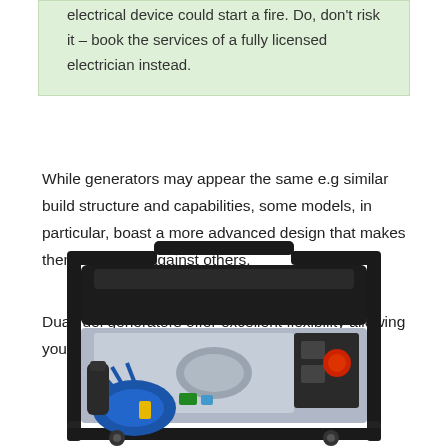electrical device could start a fire. Do, don't risk it – book the services of a fully licensed electrician instead.
While generators may appear the same e.g similar build structure and capabilities, some models, in particular, boast a more advanced design that makes them stand out against others.
Dual fuel generators offer excellent flexibility allowing you to run them on gasoline or propane.
[Figure (photo): A portable dual-fuel generator with a black metal frame, blue engine components, silver control panel, and red outlet covers, viewed from a slight angle.]